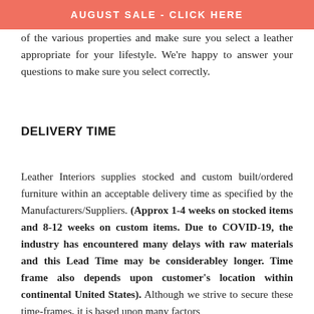AUGUST SALE - CLICK HERE
of the various properties and make sure you select a leather appropriate for your lifestyle. We're happy to answer your questions to make sure you select correctly.
DELIVERY TIME
Leather Interiors supplies stocked and custom built/ordered furniture within an acceptable delivery time as specified by the Manufacturers/Suppliers. (Approx 1-4 weeks on stocked items and 8-12 weeks on custom items. Due to COVID-19, the industry has encountered many delays with raw materials and this Lead Time may be considerabley longer. Time frame also depends upon customer's location within continental United States). Although we strive to secure these time-frames, it is based upon many factors